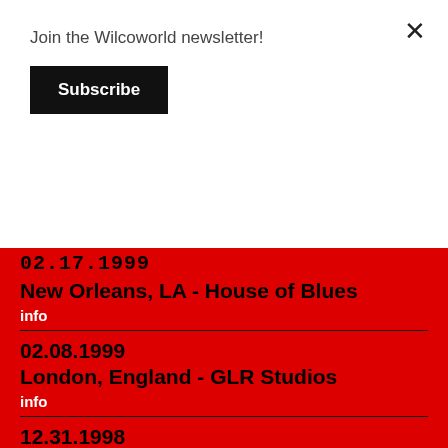Join the Wilcoworld newsletter!
Subscribe
×
02.17.1999
New Orleans, LA - House of Blues
info
02.08.1999
London, England - GLR Studios
info
12.31.1998
San Francisco, CA - The Fillmore